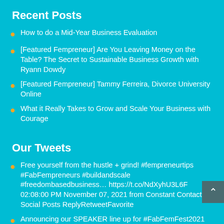Recent Posts
How to do a Mid-Year Business Evaluation
[Featured Fempreneur] Are You Leaving Money on the Table? The Secret to Sustainable Business Growth with Ryann Dowdy
[Featured Fempreneur] Tammy Ferreira, Divorce University Online
What it Really Takes to Grow and Scale Your Business with Courage
Our Tweets
Free yourself from the hustle + grind! #fempreneurtips #FabFempreneurs #buildandscale #freedombasedbusiness… https://t.co/NdXyhU3L6F 02:08:00 PM November 07, 2021 from Constant Contact - Social Posts ReplyRetweetFavorite
Announcing our SPEAKER line up for #FabFemFest2021 this September! https://t.co/NwX1B8dXph #fempreneurs… https://t.co/DBNEJam8yA 01:31:18 PM